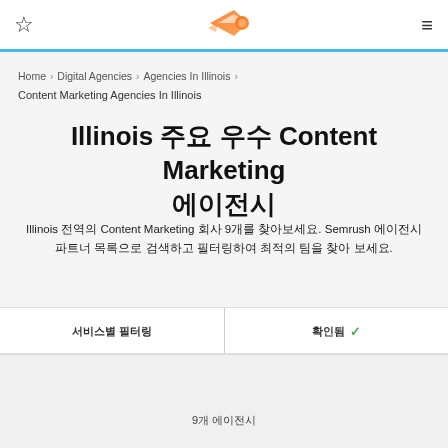Navigation bar with star icon, Semrush logo, and menu icon
Home > Digital Agencies > Agencies In Illinois > Content Marketing Agencies In Illinois
Illinois 주요 우수 Content Marketing 에이전시
Illinois 전역의 Content Marketing 회사 9개를 찾아보세요. Semrush 에이전시 파트너 목록으로 검색하고 필터링하여 최적의 팀을 찾아 보세요.
서비스별 필터링 | 확인됨 ✓
9개 에이전시